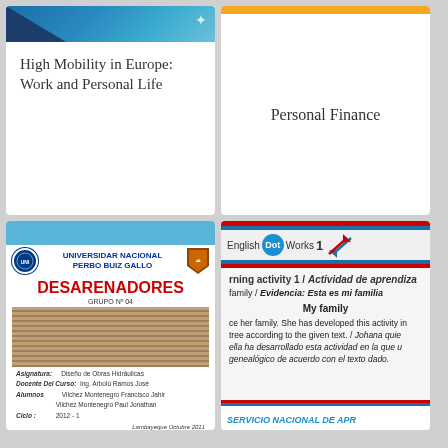[Figure (illustration): Book cover: High Mobility in Europe: Work and Personal Life, with blue gradient header and triangular decoration]
High Mobility in Europe: Work and Personal Life
[Figure (illustration): Book cover: Personal Finance with orange top bar]
Personal Finance
[Figure (illustration): Document cover: UNIVERSIDAD NACIONAL PEDRO RUIZ GALLO - DESARENADORES, GRUPO N° 04, with aerial photo of water infrastructure, faculty info including Diseño de Obras Hidráulicas course]
[Figure (illustration): English Dot Works 1 educational material with learning activity about family/My family text excerpt in English and Spanish]